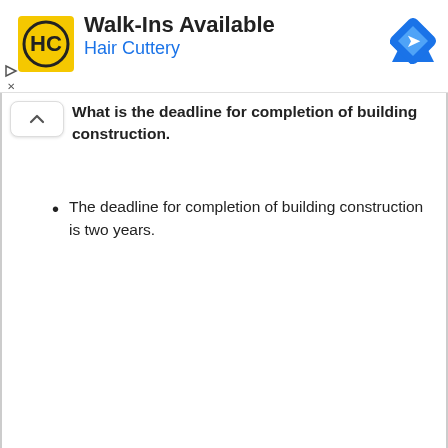[Figure (logo): Hair Cuttery advertisement banner with HC logo, 'Walk-Ins Available' heading, 'Hair Cuttery' subtitle in blue, and a Google Maps navigation icon]
What is the deadline for completion of building construction.
The deadline for completion of building construction is two years.